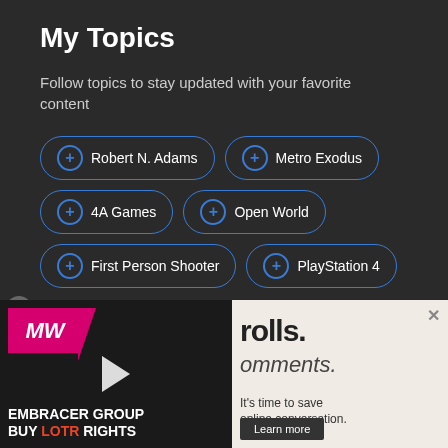My Topics
Follow topics to stay updated with your favorite content
+ Robert N. Adams
+ Metro Exodus
+ 4A Games
+ Open World
+ First Person Shooter
+ PlayStation 4
[Figure (screenshot): Advertisement overlay showing MW logo with 'EMBRACER GROUP BUY LOTR RIGHTS' video thumbnail on dark background, and text 'rolls. omments. It's time to save online conversation.' with a 'Learn more' button on light background]